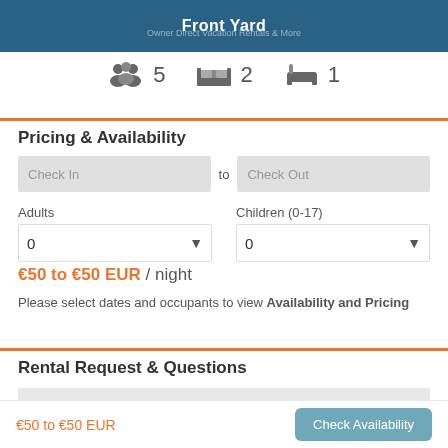Front Yard
[Figure (infographic): Icons showing 5 guests, 2 bedrooms, 1 bathroom]
Pricing & Availability
Check In to Check Out
Adults 0, Children (0-17) 0
€50 to €50 EUR / night
Please select dates and occupants to view Availability and Pricing
Rental Request & Questions
your@email.com - required
€50 to €50 EUR    Check Availability